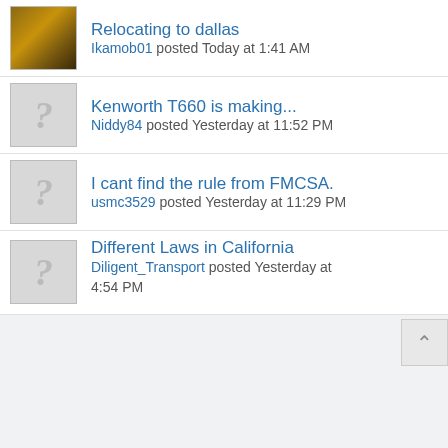Relocating to dallas
Ikamob01 posted Today at 1:41 AM
Kenworth T660 is making...
Niddy84 posted Yesterday at 11:52 PM
I cant find the rule from FMCSA.
usmc3529 posted Yesterday at 11:29 PM
Different Laws in California
Diligent_Transport posted Yesterday at 4:54 PM
And they just keep calling...
Jacoooooooo posted Yesterday at 9:22 AM
DOT ever give you trouble for...
Kshaw0960 posted Tuesday at 3:18 PM
Product left on reefer
Billyg06 posted Tuesday at 8:09 AM
Have you / Will you diversify?
bonder45 posted Monday at 11:49 PM
Great Dane trailer questions???
Texasrig posted Monday at 8:43 PM
Cheapest price on X line energy